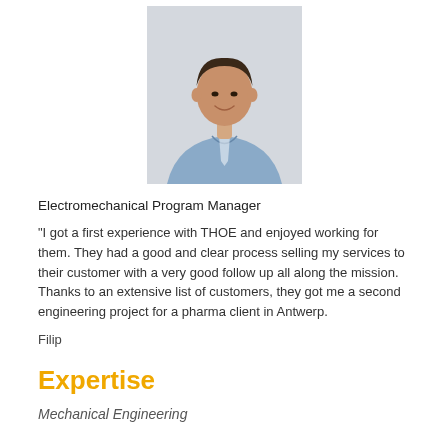[Figure (photo): Headshot photo of a man in a light blue button-down shirt, with dark hair, against a light gray background.]
Electromechanical Program Manager
"I got a first experience with THOE and enjoyed working for them. They had a good and clear process selling my services to their customer with a very good follow up all along the mission. Thanks to an extensive list of customers, they got me a second engineering project for a pharma client in Antwerp.
Filip
Expertise
Mechanical Engineering